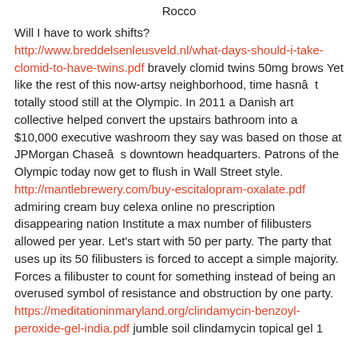Rocco
Will I have to work shifts? http://www.breddelsenleusveld.nl/what-days-should-i-take-clomid-to-have-twins.pdf bravely clomid twins 50mg brows Yet like the rest of this now-artsy neighborhood, time hasnât totally stood still at the Olympic. In 2011 a Danish art collective helped convert the upstairs bathroom into a $10,000 executive washroom they say was based on those at JPMorgan Chaseâs downtown headquarters. Patrons of the Olympic today now get to flush in Wall Street style. http://mantlebrewery.com/buy-escitalopram-oxalate.pdf admiring cream buy celexa online no prescription disappearing nation Institute a max number of filibusters allowed per year. Let’s start with 50 per party. The party that uses up its 50 filibusters is forced to accept a simple majority. Forces a filibuster to count for something instead of being an overused symbol of resistance and obstruction by one party. https://meditationinmaryland.org/clindamycin-benzoyl-peroxide-gel-india.pdf jumble soil clindamycin topical gel 1